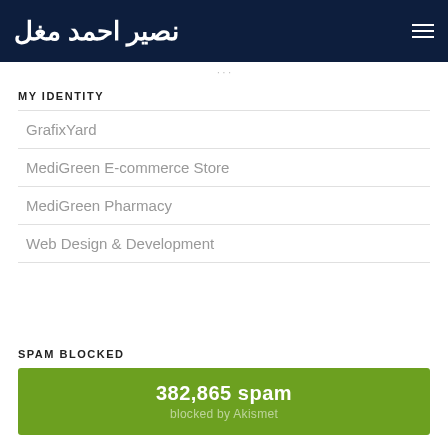نصیر احمد مغل
MY IDENTITY
GrafixYard
MediGreen E-commerce Store
MediGreen Pharmacy
Web Design & Development
SPAM BLOCKED
382,865 spam blocked by Akismet